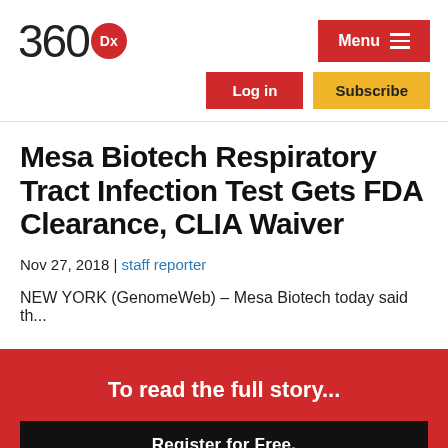360Dx
Mesa Biotech Respiratory Tract Infection Test Gets FDA Clearance, CLIA Waiver
Nov 27, 2018 | staff reporter
NEW YORK (GenomeWeb) – Mesa Biotech today said th...
To read the full story...
Register for Free.
...and receive Daily News bulletins.